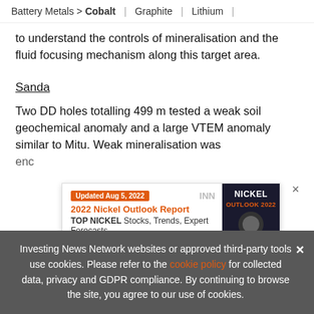Battery Metals > Cobalt | Graphite | Lithium |
to understand the controls of mineralisation and the fluid focusing mechanism along this target area.
Sanda
Two DD holes totalling 499 m tested a weak soil geochemical anomaly and a large VTEM anomaly similar to Mitu. Weak mineralisation was encountered...
[Figure (screenshot): Advertisement overlay: INN 2022 Nickel Outlook Report - TOP NICKEL Stocks, Trends, Expert Forecasts. Updated Aug 5, 2022. Shows Nickel Outlook 2022 report cover image.]
Mawomba
Investing News Network websites or approved third-party tools use cookies. Please refer to the cookie policy for collected data, privacy and GDPR compliance. By continuing to browse the site, you agree to our use of cookies.